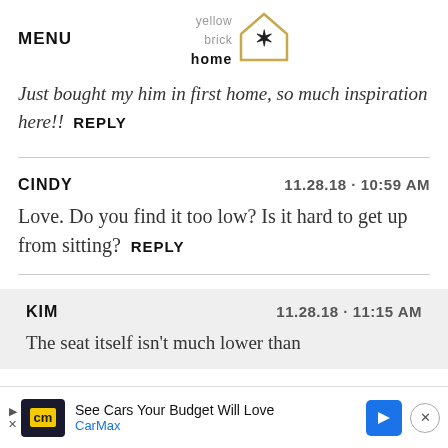MENU | yellow brick home logo
Just bought my him in first home, so much inspiration here!!  REPLY
CINDY  11.28.18 · 10:59 AM
Love. Do you find it too low? Is it hard to get up from sitting?  REPLY
KIM  11.28.18 · 11:15 AM
The seat itself isn't much lower than
See Cars Your Budget Will Love
CarMax